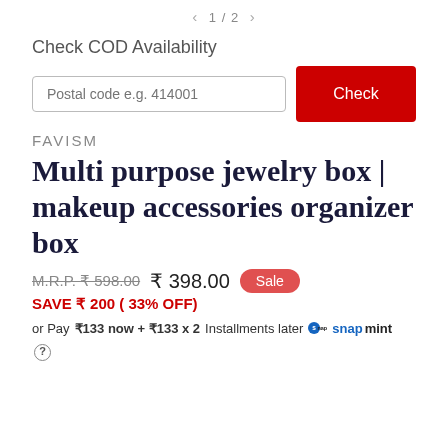< 1 / 2 >
Check COD Availability
Postal code e.g. 414001  [Check button]
FAVISM
Multi purpose jewelry box | makeup accessories organizer box
M.R.P. ₹ 598.00  ₹ 398.00  Sale
SAVE ₹ 200 ( 33% OFF)
or Pay ₹133 now + ₹133 x 2 Installments later  snapmint ?